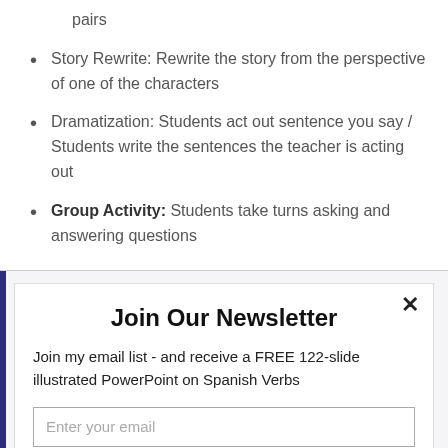pairs
Story Rewrite: Rewrite the story from the perspective of one of the characters
Dramatization: Students act out sentence you say / Students write the sentences the teacher is acting out
Group Activity: Students take turns asking and answering questions
Join Our Newsletter
Join my email list - and receive a FREE 122-slide illustrated PowerPoint on Spanish Verbs
Enter your email